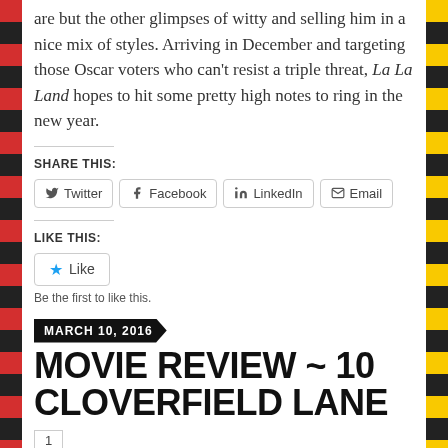are but the other glimpses of witty and selling him in a nice mix of styles. Arriving in December and targeting those Oscar voters who can't resist a triple threat, La La Land hopes to hit some pretty high notes to ring in the new year.
SHARE THIS:
Twitter  Facebook  LinkedIn  Email
LIKE THIS:
Like
Be the first to like this.
MARCH 10, 2016
MOVIE REVIEW ~ 10 CLOVERFIELD LANE
1